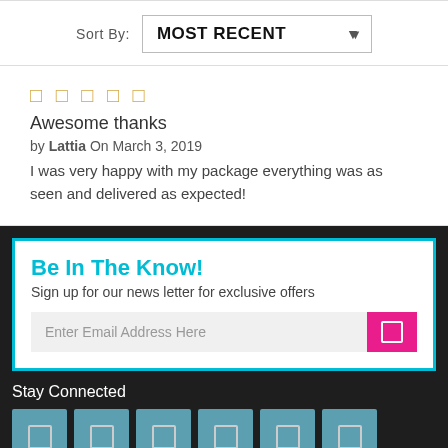Sort By: MOST RECENT
★★★★★ (5 stars)
Awesome thanks
by Lattia On March 3, 2019
I was very happy with my package everything was as seen and delivered as expected!
Be In The Know!
Sign up for our news letter for exclusive offers
Enter Email Address Here
Stay Connected